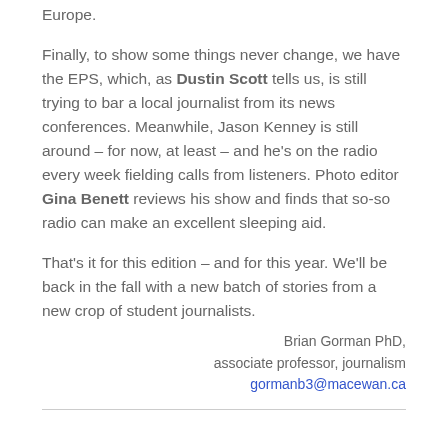Europe.
Finally, to show some things never change, we have the EPS, which, as Dustin Scott tells us, is still trying to bar a local journalist from its news conferences. Meanwhile, Jason Kenney is still around – for now, at least – and he's on the radio every week fielding calls from listeners. Photo editor Gina Benett reviews his show and finds that so-so radio can make an excellent sleeping aid.
That's it for this edition – and for this year. We'll be back in the fall with a new batch of stories from a new crop of student journalists.
Brian Gorman PhD, associate professor, journalism gormanb3@macewan.ca